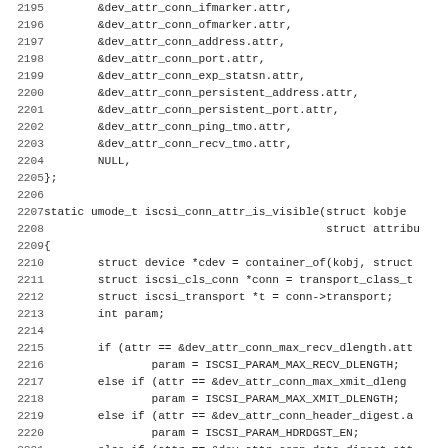Source code listing lines 2195-2226, showing C code for iSCSI connection attributes and iscsi_conn_attr_is_visible function